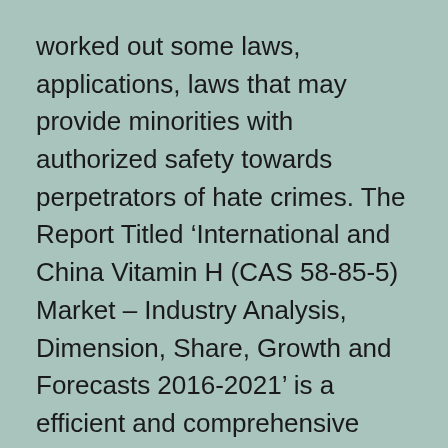worked out some laws, applications, laws that may provide minorities with authorized safety towards perpetrators of hate crimes. The Report Titled ‘International and China Vitamin H (CAS 58-85-5) Market – Industry Analysis, Dimension, Share, Growth and Forecasts 2016-2021’ is a efficient and comprehensive research on the Present state of the global Vitamin H Market with a concentrate on the Chinese trade.
We characteristic large repository of latest trade stories, leading and niche company profiles, and market statistics launched by